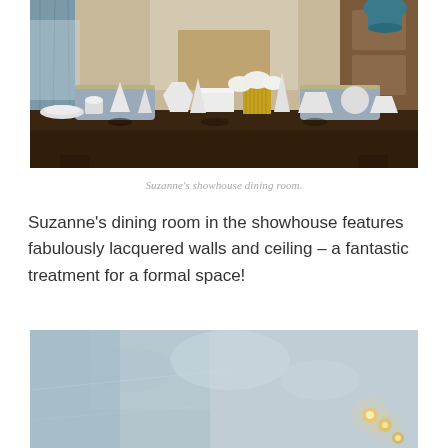[Figure (photo): Interior photo of Suzanne's showhouse dining room featuring a dark wood table covered with various white geometric sculptural objects and a gold fluted vase with white roses, blue curtains and a fireplace in the background.]
Suzanne's showhouse dining room.
Suzanne's dining room in the showhouse features fabulously lacquered walls and ceiling – a fantastic treatment for a formal space!
[Figure (photo): Partial photo of a lacquered ceiling with soft blue-grey tones and warm pendant lights visible in the bottom right area.]